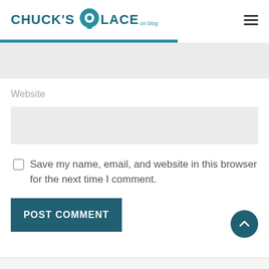CHUCK'S PLACE on blog
Website
Save my name, email, and website in this browser for the next time I comment.
POST COMMENT